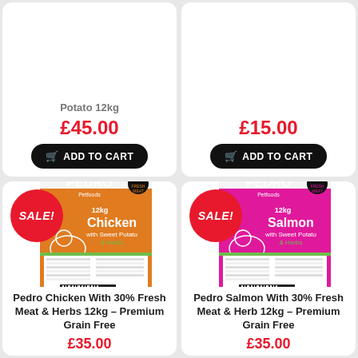Potato 12kg
£45.00
ADD TO CART
£15.00
ADD TO CART
[Figure (photo): Pedro Petfoods Chicken with Sweet Potato & Herbs 12kg bag with SALE! badge]
SALE!
Pedro Chicken With 30% Fresh Meat & Herbs 12kg – Premium Grain Free
£35.00
[Figure (photo): Pedro Petfoods Salmon with Sweet Potato & Herbs 12kg bag with SALE! badge]
SALE!
Pedro Salmon With 30% Fresh Meat & Herb 12kg – Premium Grain Free
£35.00